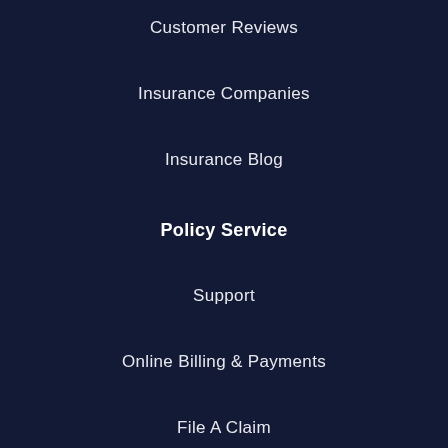Customer Reviews
Insurance Companies
Insurance Blog
Policy Service
Support
Online Billing & Payments
File A Claim